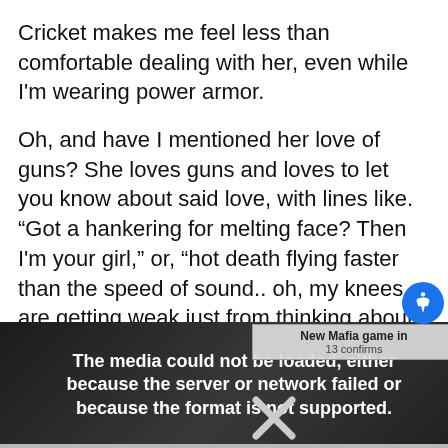Cricket makes me feel less than comfortable dealing with her, even while I'm wearing power armor.
Oh, and have I mentioned her love of guns? She loves guns and loves to let you know about said love, with lines like. “Got a hankering for melting face? Then I'm your girl,” or, “hot death flying faster than the speed of sound.. oh, my knees are getting weak just from thinking about it.” Not the most comforting thing to think about, because as the raiders are fond of
[Figure (screenshot): Video player overlay with error message: 'The media could not be loaded, either because the server or network failed or because the format is not supported.' with a large X close button. An ad panel shows 'New Mafia game in 13 confirms' text. An accessibility button (blue circle with person icon) appears at top right.]